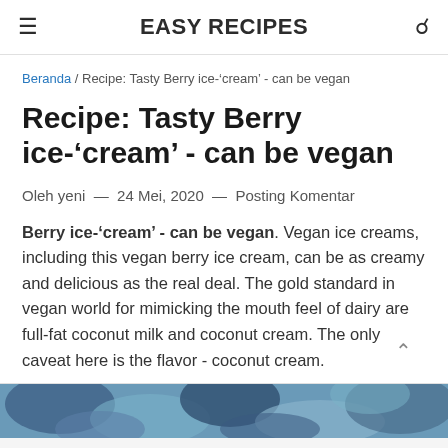EASY RECIPES
Beranda / Recipe: Tasty Berry ice-'cream' - can be vegan
Recipe: Tasty Berry ice-'cream' - can be vegan
Oleh yeni — 24 Mei, 2020 — Posting Komentar
Berry ice-'cream' - can be vegan. Vegan ice creams, including this vegan berry ice cream, can be as creamy and delicious as the real deal. The gold standard in vegan world for mimicking the mouth feel of dairy are full-fat coconut milk and coconut cream. The only caveat here is the flavor - coconut cream.
[Figure (photo): Partial view of berry ice cream in a bowl with decorative blue and white patterned background]